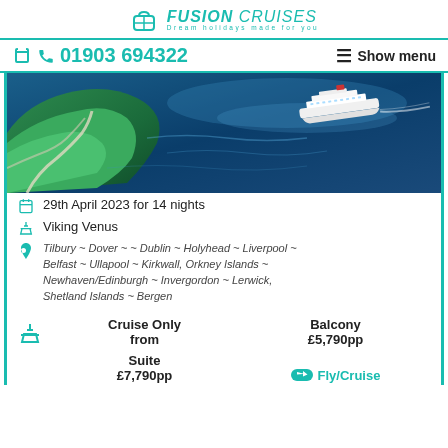FUSION CRUISES — Dream holidays made for you
☎ 01903 694322   ☰ Show menu
[Figure (photo): Aerial view of a large cruise ship sailing in deep blue ocean waters alongside a green forested island with winding roads.]
29th April 2023 for 14 nights
Viking Venus
Tilbury ~ Dover ~ ~ Dublin ~ Holyhead ~ Liverpool ~ Belfast ~ Ullapool ~ Kirkwall, Orkney Islands ~ Newhaven/Edinburgh ~ Invergordon ~ Lerwick, Shetland Islands ~ Bergen
| Cruise Only from | Balcony |
| --- | --- |
|  | £5,790pp |
| Suite |  |
| £7,790pp | Fly/Cruise |